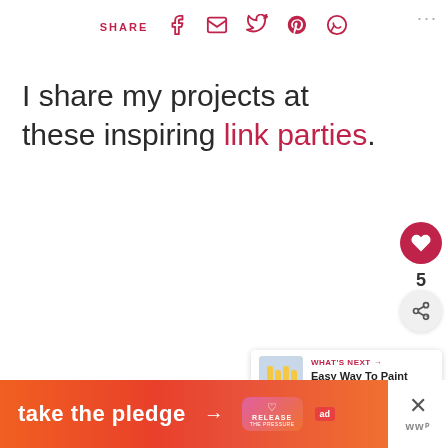SHARE [icons: facebook, email, twitter, pinterest, whatsapp]
I share my projects at these inspiring link parties.
[Figure (infographic): Floating action buttons: heart/like button (red circle), count '5', share button (grey circle)]
[Figure (infographic): What's Next card with thumbnail image and text 'Easy Way To Paint Chair...']
[Figure (infographic): Ad banner: 'take the pledge' with arrow, RELEASE logo, ad badge, and close X button]